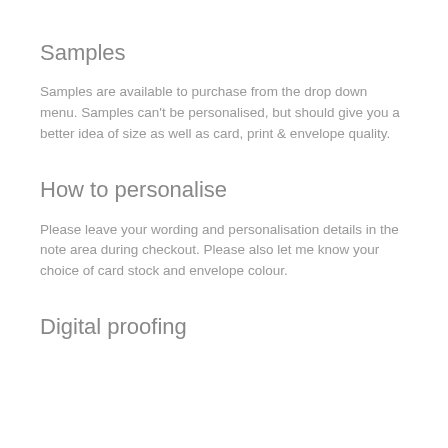Samples
Samples are available to purchase from the drop down menu. Samples can't be personalised, but should give you a better idea of size as well as card, print & envelope quality.
How to personalise
Please leave your wording and personalisation details in the note area during checkout. Please also let me know your choice of card stock and envelope colour.
Digital proofing